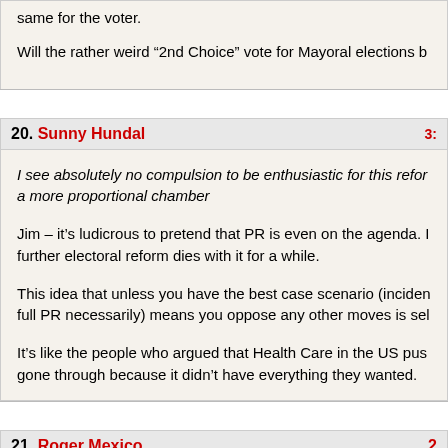same for the voter.

Will the rather weird “2nd Choice” vote for Mayoral elections b
20. Sunny Hundal   3:
I see absolutely no compulsion to be enthusiastic for this refor... a more proportional chamber

Jim – it’s ludicrous to pretend that PR is even on the agenda. I... further electoral reform dies with it for a while.

This idea that unless you have the best case scenario (inciden... full PR necessarily) means you oppose any other moves is sel...

It’s like the people who argued that Health Care in the US pus... gone through because it didn’t have everything they wanted.
21. Roger Mexico   2